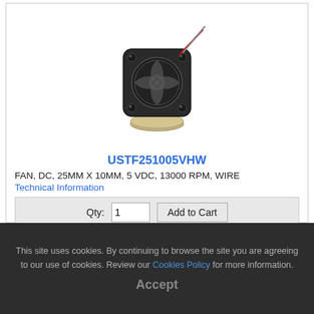[Figure (photo): Small DC fan (25mm x 10mm) shown next to a coin for size reference, with red and black wires attached]
USTF251005VHW
FAN, DC, 25MM X 10MM, 5 VDC, 13000 RPM, WIRE
Technical Information
Qty: 1  Add to Cart
Reg. Price:  1:$16.97
Internet Price:  1:$15.43
Click HERE to See Availability
This site uses cookies. By continuing to browse the site you are agreeing to our use of cookies. Review our Cookies Policy for more information.
Accept